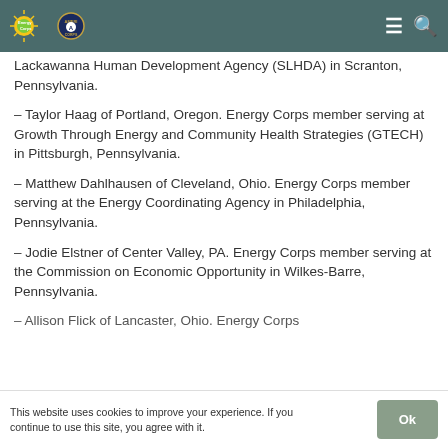Energy Corps | AmeriCorps
Lackawanna Human Development Agency (SLHDA) in Scranton, Pennsylvania.
– Taylor Haag of Portland, Oregon. Energy Corps member serving at Growth Through Energy and Community Health Strategies (GTECH) in Pittsburgh, Pennsylvania.
– Matthew Dahlhausen of Cleveland, Ohio. Energy Corps member serving at the Energy Coordinating Agency in Philadelphia, Pennsylvania.
– Jodie Elstner of Center Valley, PA. Energy Corps member serving at the Commission on Economic Opportunity in Wilkes-Barre, Pennsylvania.
– Allison Flick of Lancaster, Ohio. Energy Corps…
This website uses cookies to improve your experience. If you continue to use this site, you agree with it.